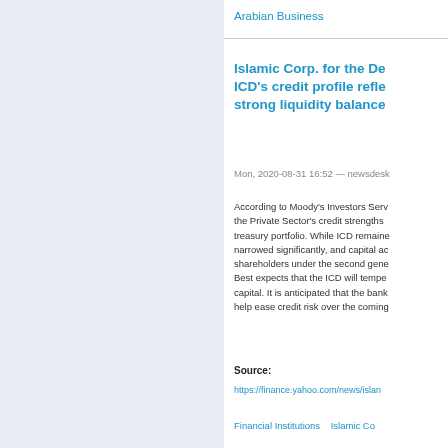Arabian Business
Islamic Corp. for the De... ICD's credit profile refle... strong liquidity balance...
Mon, 2020-08-31 16:52 — newsdesk
According to Moody's Investors Serv... the Private Sector's credit strengths ... treasury portfolio. While ICD remaine... narrowed significantly, and capital ac... shareholders under the second gene... Best expects that the ICD will tempe... capital. It is anticipated that the bank... help ease credit risk over the coming...
Source:
https://finance.yahoo.com/news/islan...
Financial Institutions   Islamic Co...